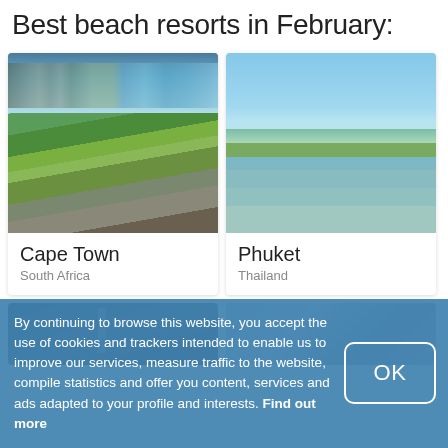Best beach resorts in February:
[Figure (photo): Aerial view of Cape Town, South Africa with mountains, city, green areas and ocean in background]
Cape Town
South Africa
[Figure (photo): Coastal view of Phuket, Thailand with calm blue-green water, pier and palm trees]
Phuket
Thailand
[Figure (photo): Partially visible bottom-left photo, dark night/evening scene with light tower]
[Figure (photo): Partially visible bottom-right photo, cloudy sky scene]
By continuing to browse this website, you accept the use of cookies and trackers intended to enable us to improve our services, measure traffic to the website, compile statistics and offer you content, services and ads adapted to your profile and interests. Find out more